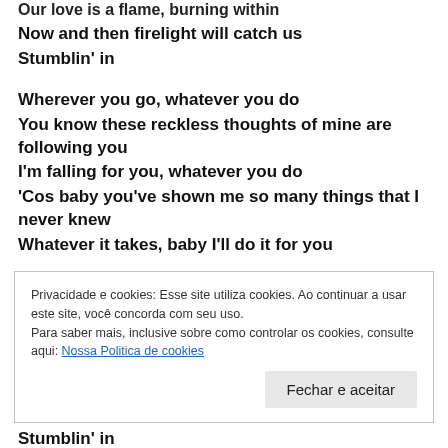Our love is a flame, burning within
Now and then firelight will catch us
Stumblin' in
Wherever you go, whatever you do
You know these reckless thoughts of mine are following you
I'm falling for you, whatever you do
'Cos baby you've shown me so many things that I never knew
Whatever it takes, baby I'll do it for you
Privacidade e cookies: Esse site utiliza cookies. Ao continuar a usar este site, você concorda com seu uso.
Para saber mais, inclusive sobre como controlar os cookies, consulte aqui: Nossa Politica de cookies
Fechar e aceitar
Stumblin' in